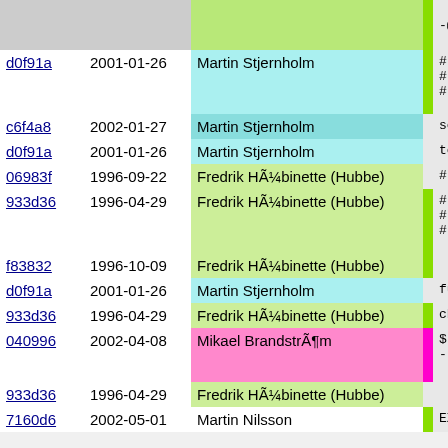| hash | date | author | code |
| --- | --- | --- | --- |
|  |  |  | -@ |
| d0f91a | 2001-01-26 | Martin Stjernholm | # We touch
# interpre
# anything |
| c6f4a8 | 2002-01-27 | Martin Stjernholm | source: de |
| d0f91a | 2001-01-26 | Martin Stjernholm | to |
| 06983f | 1996-09-22 | Fredrik HÃ¼binette (Hubbe) | # make exp |
| 933d36 | 1996-04-29 | Fredrik HÃ¼binette (Hubbe) | # Do not c
# Beware t
# and thus |
| f83832 | 1996-10-09 | Fredrik HÃ¼binette (Hubbe) |  |
| d0f91a | 2001-01-26 | Martin Stjernholm | full_expor |
| 933d36 | 1996-04-29 | Fredrik HÃ¼binette (Hubbe) | ch |
| 040996 | 2002-04-08 | Mikael BrandstrÃ¶m | $(-- |
| 933d36 | 1996-04-29 | Fredrik HÃ¼binette (Hubbe) |  |
| 7160d6 | 2002-05-01 | Martin Nilsson | EXPORT_NAM |